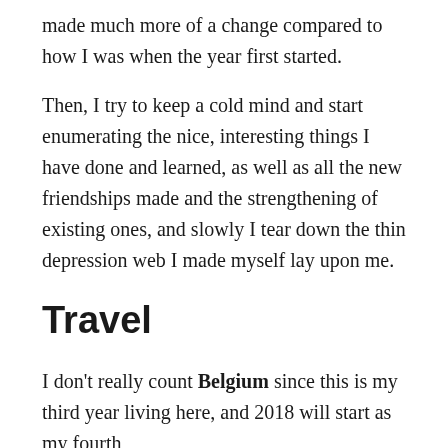made much more of a change compared to how I was when the year first started.
Then, I try to keep a cold mind and start enumerating the nice, interesting things I have done and learned, as well as all the new friendships made and the strengthening of existing ones, and slowly I tear down the thin depression web I made myself lay upon me.
Travel
I don't really count Belgium since this is my third year living here, and 2018 will start as my fourth